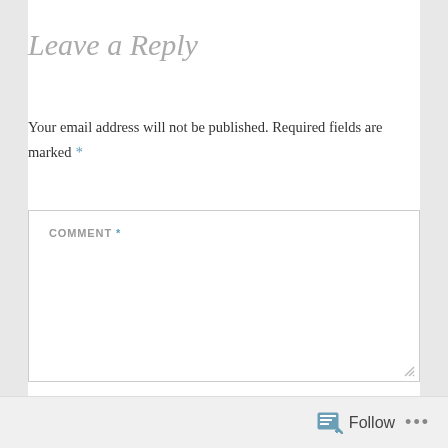Leave a Reply
Your email address will not be published. Required fields are marked *
COMMENT *
Follow ...